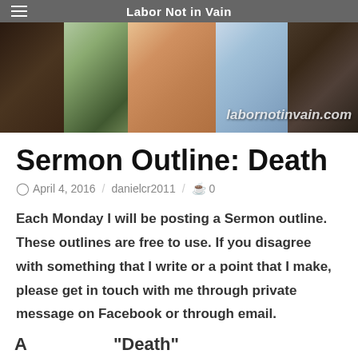Labor Not in Vain
[Figure (photo): Banner collage of family photos with children and adults; watermark reads labornotinvain.com]
Sermon Outline: Death
April 4, 2016 / danielcr2011 / 0
Each Monday I will be posting a Sermon outline. These outlines are free to use. If you disagree with something that I write or a point that I make, please get in touch with me through private message on Facebook or through email.
"Death"